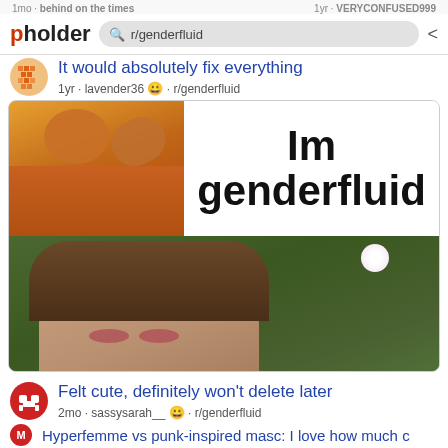1mo · behind on the times   1yr · VERYCONFUSED999
pholder  [search: r/genderfluid]
It would absolutely fix everything
1yr · lavender36 · r/genderfluid
[Figure (photo): Drake meme: top-left shows Drake in orange jacket turning away, top-right shows white panel with large bold text 'Im genderfluid'. Bottom half shows a girl with brown hair and heavy eye makeup lying in flowers.]
Felt cute, definitely won't delete later
2mo · sassysarah__ · r/genderfluid
Hyperfemme vs punk-inspired masc: I love how much c